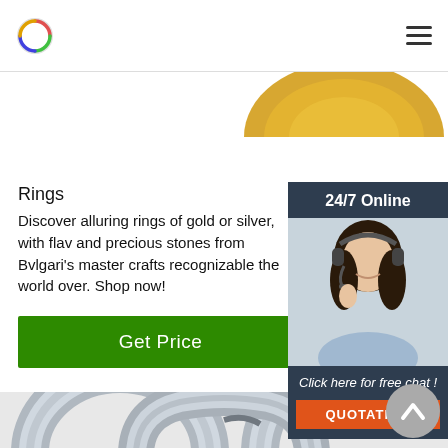[Figure (photo): Partial gold circle/ring visible at top center of page]
Rings
Discover alluring rings of gold or silver, with flav and precious stones from Bvlgari's master crafts recognizable the world over. Shop now!
[Figure (other): Green 'Get Price' button]
[Figure (photo): 24/7 Online chat panel with customer service agent photo, 'Click here for free chat!' text and orange QUOTATION button]
[Figure (photo): Close-up photo of a silver metal ring/carabiner at bottom of page]
[Figure (other): Gray circular scroll-up arrow button at bottom right]